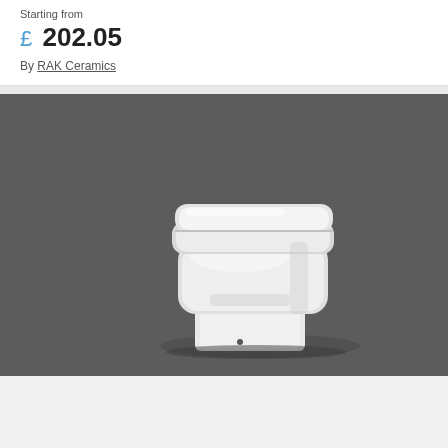Starting from
£ 202.05
By RAK Ceramics
[Figure (photo): Product photo of a white ceramic back-to-wall toilet with a square/rectangular design, featuring a closed soft-close seat, on a dark grey background. The toilet has a modern boxy shape with a pedestal base.]